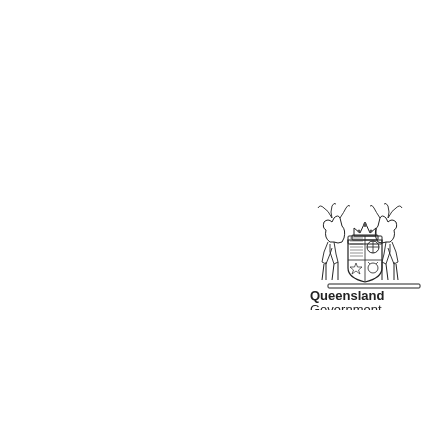[Figure (logo): Queensland Government coat of arms logo with heraldic shield supported by two figures, crown at top, and text 'Queensland Government' below]